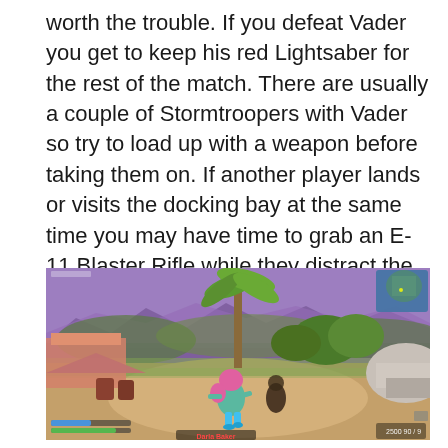worth the trouble. If you defeat Vader you get to keep his red Lightsaber for the rest of the match. There are usually a couple of Stormtroopers with Vader so try to load up with a weapon before taking them on. If another player lands or visits the docking bay at the same time you may have time to grab an E-11 Blaster Rifle while they distract the troopers.
[Figure (screenshot): A Fortnite video game screenshot showing a tropical outdoor environment with a character wearing a pink helmet and colorful outfit standing on a sandy path. There are palm trees, bushes, a pink building on the left, mountains in the background under a purple sky, and a minimap in the upper right corner showing an island. A player name tag reads 'Darla Baker' in red at the bottom.]